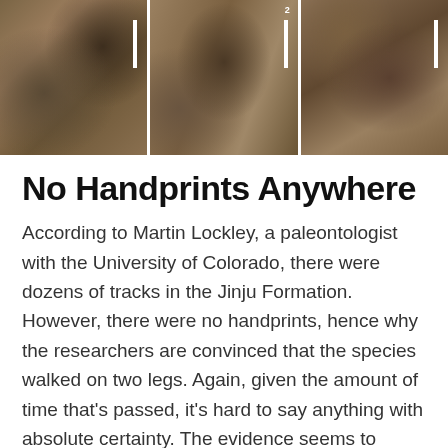[Figure (photo): Three panel photo strip showing rock formations with fossil tracks from the Jinju Formation. Each panel shows close-up views of rock surfaces with scale bars visible.]
No Handprints Anywhere
According to Martin Lockley, a paleontologist with the University of Colorado, there were dozens of tracks in the Jinju Formation. However, there were no handprints, hence why the researchers are convinced that the species walked on two legs. Again, given the amount of time that's passed, it's hard to say anything with absolute certainty. The evidence seems to